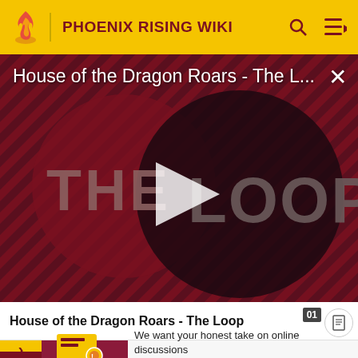PHOENIX RISING WIKI
[Figure (screenshot): Video thumbnail for 'House of the Dragon Roars - The Loop' showing THE LOOP text with a play button overlay on a dark red striped background]
House of the Dragon Roars - The L...
House of the Dragon Roars - The Loop
We want your honest take on online discussions
SURVEY: ONLINE FORUM: